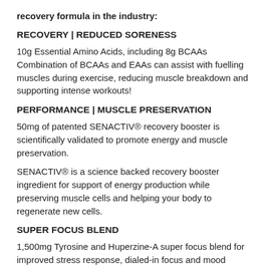recovery formula in the industry:
RECOVERY | REDUCED SORENESS
10g Essential Amino Acids, including 8g BCAAs Combination of BCAAs and EAAs can assist with fuelling muscles during exercise, reducing muscle breakdown and supporting intense workouts!
PERFORMANCE | MUSCLE PRESERVATION
50mg of patented SENACTIV® recovery booster is scientifically validated to promote energy and muscle preservation.
SENACTIV® is a science backed recovery booster ingredient for support of energy production while preserving muscle cells and helping your body to regenerate new cells.
SUPER FOCUS BLEND
1,500mg Tyrosine and Huperzine-A super focus blend for improved stress response, dialed-in focus and mood enhancement to smash out every gym session.
Train Harder. Recover Faster. Get Results.
Go above and BEYOND!